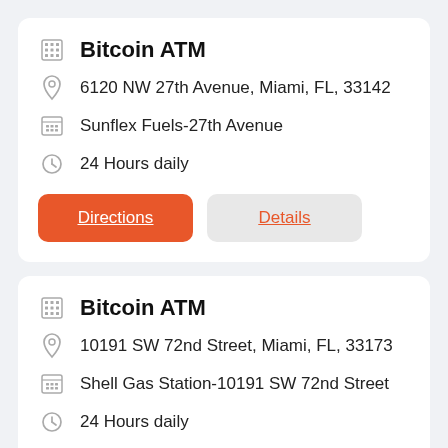Bitcoin ATM
6120 NW 27th Avenue, Miami, FL, 33142
Sunflex Fuels-27th Avenue
24 Hours daily
Directions
Details
Bitcoin ATM
10191 SW 72nd Street, Miami, FL, 33173
Shell Gas Station-10191 SW 72nd Street
24 Hours daily
Directions
Details